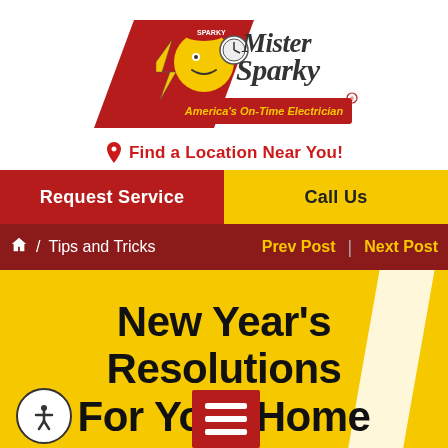[Figure (logo): Mister Sparky logo — America's On-Time Electrician — with cartoon lightbulb character in red cap holding a stopwatch, red triangle shape, lightning bolt, and brand name text]
Find a Location Near You!
Request Service
Call Us
/ Tips and Tricks
Prev Post
Next Post
New Year's Resolutions For Your Home